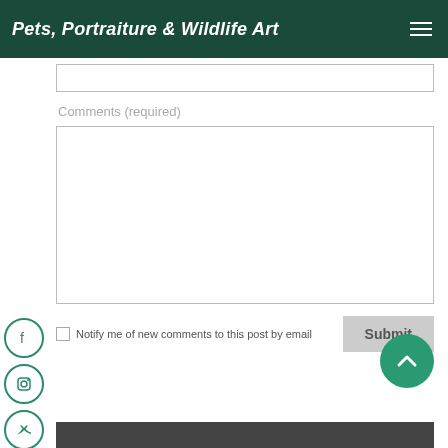Pets, Portraiture & Wildlife Art
Comments (required)
Notify me of new comments to this post by email
[Figure (screenshot): Submit button for comment form]
[Figure (infographic): Social media icons: Facebook, Instagram, Twitter, Email, Pinterest arranged vertically on left side]
[Figure (infographic): Scroll-to-top button (green circle with upward chevron) in bottom right]
[Figure (photo): Partial image strip at bottom of page, dark tones]